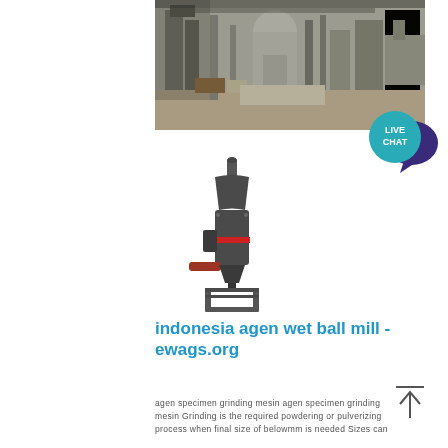[Figure (photo): Industrial grinding mill facility interior showing large vertical mill equipment, silos, and structural steel supports in a warehouse setting]
[Figure (photo): Industrial vertical ball mill / grinding mill machine — dark gray cylindrical body with red accent band, motor and support frame, on white background]
[Figure (illustration): Live Chat bubble icon — teal circle with LIVE CHAT text and dark blue speech bubble]
indonesia agen wet ball mill - ewags.org
agen specimen grinding mesin agen specimen grinding mesin Grinding is the required powdering or pulverizing process when final size of belowmm is needed Sizes can
[Figure (illustration): Scroll-to-top navigation element: horizontal line above upward arrow]